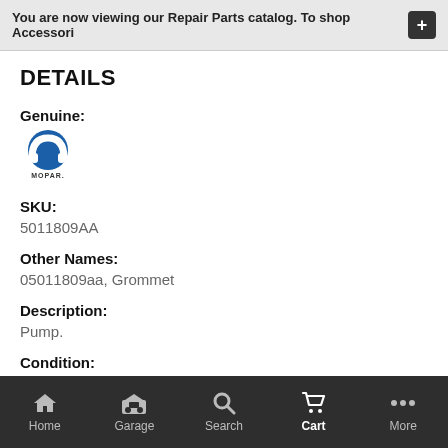You are now viewing our Repair Parts catalog. To shop Accessori
DETAILS
Genuine:
[Figure (logo): Mopar logo - blue circular M emblem with MOPAR text below]
SKU:
5011809AA
Other Names:
05011809aa, Grommet
Description:
Pump.
Condition:
New
Applications:
Home  Garage  Search  Cart  More